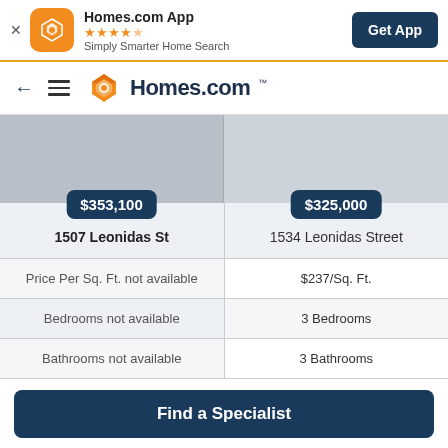[Figure (screenshot): Homes.com app banner with orange logo icon, star rating, and Get App button]
[Figure (screenshot): Homes.com navigation bar with back arrow, hamburger menu, and Homes.com logo]
[Figure (screenshot): Two property listing images side by side (gray placeholders) with price badges $353,100 and $325,000]
|  | 1507 Leonidas St | 1534 Leonidas Street |
| --- | --- | --- |
| Price Per Sq. Ft. | not available | $237/Sq. Ft. |
| Bedrooms | not available | 3 Bedrooms |
| Bathrooms | not available | 3 Bathrooms |
Find a Specialist